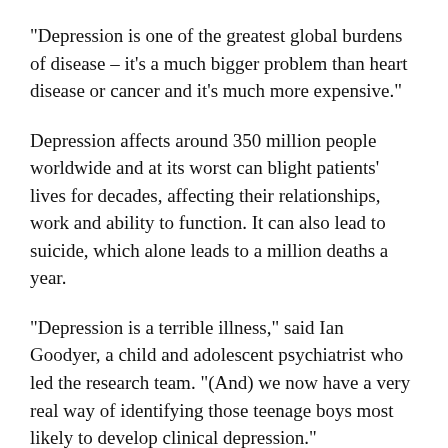“Depression is one of the greatest global burdens of disease – it’s a much bigger problem than heart disease or cancer and it’s much more expensive.”
Depression affects around 350 million people worldwide and at its worst can blight patients’ lives for decades, affecting their relationships, work and ability to function. It can also lead to suicide, which alone leads to a million deaths a year.
“Depression is a terrible illness,” said Ian Goodyer, a child and adolescent psychiatrist who led the research team. “(And) we now have a very real way of identifying those teenage boys most likely to develop clinical depression.”
He said armed with such knowledge, doctors and other carers could target prevention strategies at